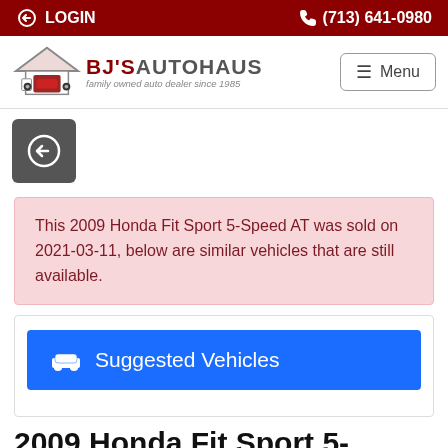LOGIN  (713) 641-0980
[Figure (logo): BJ's Autohaus logo with house icon and car icon, text: BJ'S AUTOHAUS, family owned auto dealer since 1985]
This 2009 Honda Fit Sport 5-Speed AT was sold on 2021-03-11, below are similar vehicles that are still available.
Suggested Vehicles
2009 Honda Fit Sport 5-Speed AT